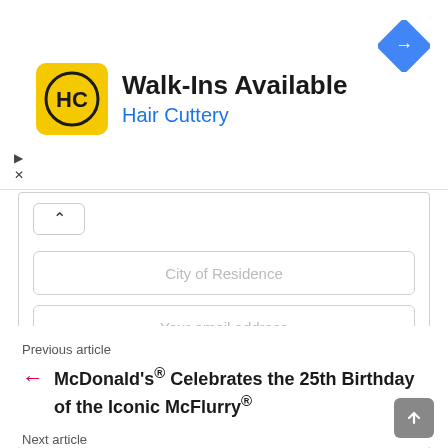[Figure (logo): Hair Cuttery advertisement banner with HC logo, text 'Walk-Ins Available' and 'Hair Cuttery', and a navigation/directions icon]
City of Residence
Your email address
SIGN UP
Don't worry we don't spam
Previous article
McDonald's® Celebrates the 25th Birthday of the Iconic McFlurry®
Next article